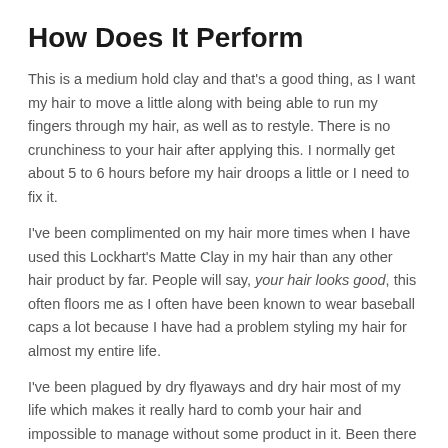How Does It Perform
This is a medium hold clay and that's a good thing, as I want my hair to move a little along with being able to run my fingers through my hair, as well as to restyle. There is no crunchiness to your hair after applying this. I normally get about 5 to 6 hours before my hair droops a little or I need to fix it.
I've been complimented on my hair more times when I have used this Lockhart's Matte Clay in my hair than any other hair product by far. People will say, your hair looks good, this often floors me as I often have been known to wear baseball caps a lot because I have had a problem styling my hair for almost my entire life.
I've been plagued by dry flyaways and dry hair most of my life which makes it really hard to comb your hair and impossible to manage without some product in it. Been there tried that, as I have tried hundreds of products. It's not until the last 15 months that something has gotten really better and that...